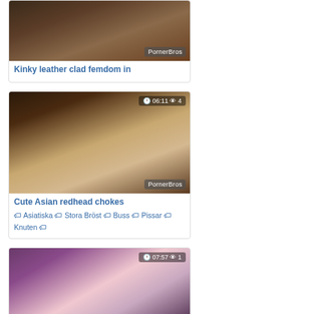[Figure (photo): Video thumbnail showing close-up with PornerBros watermark]
Kinky leather clad femdom in
[Figure (photo): Video thumbnail with stats overlay 06:11 views 4, PornerBros watermark]
Cute Asian redhead chokes
Asiatiska  Stora Bröst  Buss  Pissar  Knuten
[Figure (photo): Video thumbnail with stats overlay 07:57 views 1, blonde woman on bed]